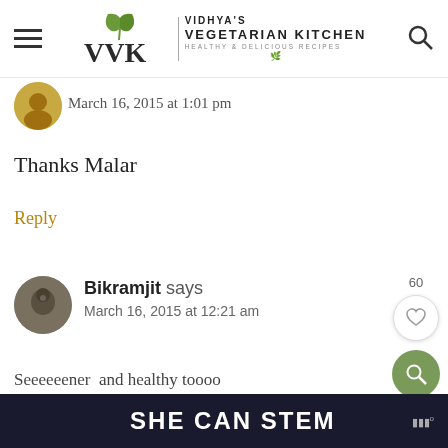[Figure (screenshot): Vidhya's Vegetarian Kitchen website header with hamburger menu, VVK logo with leaf icon, site name, and search icon]
March 16, 2015 at 1:01 pm
Thanks Malar
Reply
Bikramjit says
March 16, 2015 at 12:21 am
Seeeeeener and healthy toooo
SHE CAN STEM